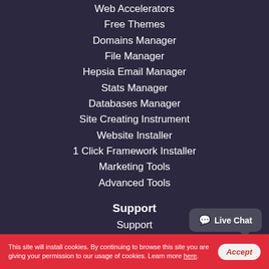Web Accelerators
Free Themes
Domains Manager
File Manager
Hepsia Email Manager
Stats Manager
Databases Manager
Site Creating Instrument
Website Installer
1 Click Framework Installer
Marketing Tools
Advanced Tools
Support
Support
Web Hosting Support
[Figure (other): Live Chat speech bubble button]
This site will install cookies. By continuing to browse this site you are giving your permission to our usage of cookies. Learn more here.